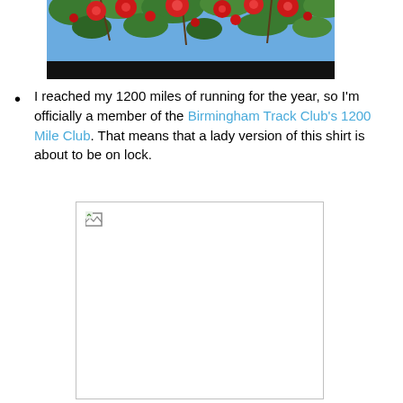[Figure (photo): Photo of red berries/cherries on branches with green leaves against a blue sky, with a black bar at the bottom of the image]
I reached my 1200 miles of running for the year, so I'm officially a member of the Birmingham Track Club's 1200 Mile Club. That means that a lady version of this shirt is about to be on lock.
[Figure (photo): Broken/missing image placeholder with border]